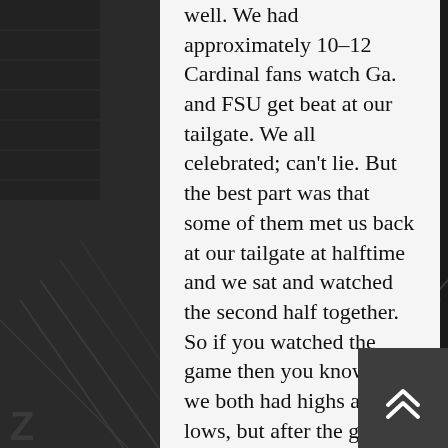[Figure (photo): Black and white aerial/perspective photo of a football stadium field in the background on both left and right sides of the page.]
well. We had approximately 10-12 Cardinal fans watch Ga. and FSU get beat at our tailgate. We all celebrated; can't lie. But the best part was that some of them met us back at our tailgate at halftime and we sat and watched the second half together. So if you watched the game then you know that we both had highs and lows, but after the game we all walked over to the ESSO and had beers together